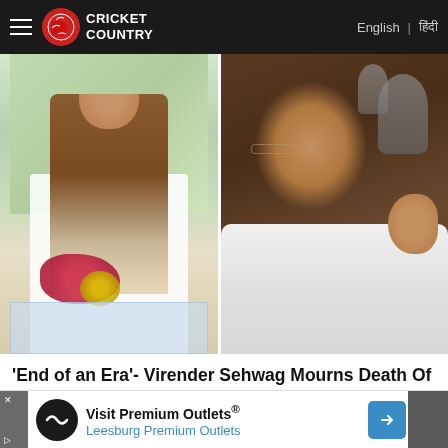CRICKET COUNTRY | English | हिंदी
[Figure (photo): Two side-by-side photos: left shows Virender Sehwag seated in a brown jacket at an event with flowers; right shows Rakesh Jhunjhunwala in a white shirt gesturing while speaking.]
'End of an Era'- Virender Sehwag Mourns Death Of Ace Investor Rakesh Jhunjhunwala
Cricket Country
[Figure (other): Advertisement banner: Visit Premium Outlets® - Leesburg Premium Outlets]
Visit Premium Outlets® Leesburg Premium Outlets